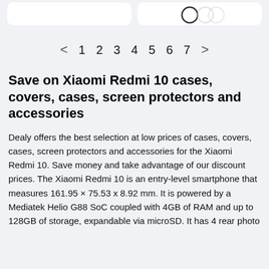[Figure (other): Two white card UI elements at the top of the page, the right one containing a partial circular icon/logo]
[Figure (other): Pagination navigation bar with left arrow, page numbers 1 through 7, and right arrow]
Save on Xiaomi Redmi 10 cases, covers, cases, screen protectors and accessories
Dealy offers the best selection at low prices of cases, covers, cases, screen protectors and accessories for the Xiaomi Redmi 10. Save money and take advantage of our discount prices. The Xiaomi Redmi 10 is an entry-level smartphone that measures 161.95 × 75.53 x 8.92 mm. It is powered by a Mediatek Helio G88 SoC coupled with 4GB of RAM and up to 128GB of storage, expandable via microSD. It has 4 rear photo